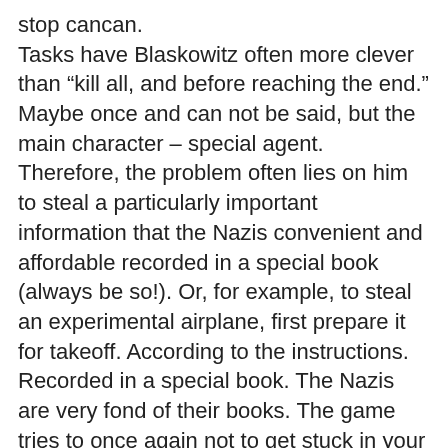stop cancan. Tasks have Blaskowitz often more clever than “kill all, and before reaching the end.” Maybe once and can not be said, but the main character – special agent. Therefore, the problem often lies on him to steal a particularly important information that the Nazis convenient and affordable recorded in a special book (always be so!). Or, for example, to steal an experimental airplane, first prepare it for takeoff. According to the instructions. Recorded in a special book. The Nazis are very fond of their books. The game tries to once again not to get stuck in your own pace. She obviously really wants (it is clear) to get into the shoes Half-Life a permanent peace-building, a regular change of scenery and interactivity. Prevents the old with the new, but … humble, I suppose. Not fanning out of molehills. In the modern shooter